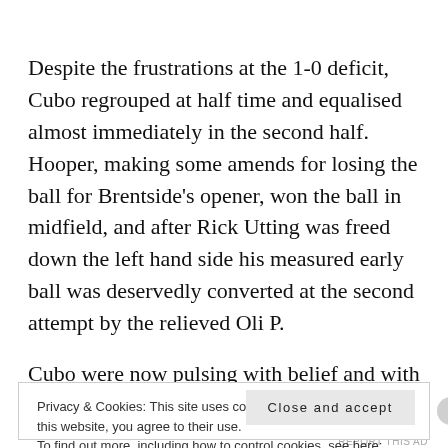Despite the frustrations at the 1-0 deficit, Cubo regrouped at half time and equalised almost immediately in the second half. Hooper, making some amends for losing the ball for Brentside's opener, won the ball in midfield, and after Rick Utting was freed down the left hand side his measured early ball was deservedly converted at the second attempt by the relieved Oli P.
Cubo were now pulsing with belief and with Crian
Privacy & Cookies: This site uses cookies. By continuing to use this website, you agree to their use.
To find out more, including how to control cookies, see here: Cookie Policy
Close and accept